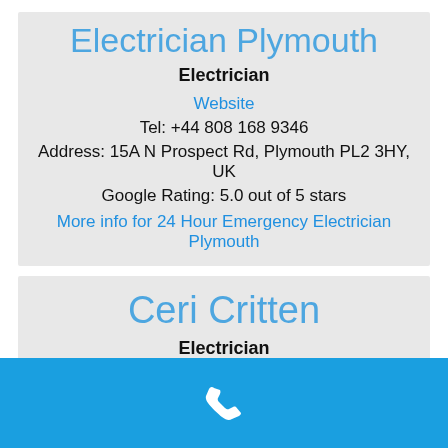Electrician Plymouth
Electrician
Website
Tel: +44 808 168 9346
Address: 15A N Prospect Rd, Plymouth PL2 3HY, UK
Google Rating: 5.0 out of 5 stars
More info for 24 Hour Emergency Electrician Plymouth
Ceri Critten
Electrician
[Figure (other): Blue call/phone button bar at bottom of screen with white phone handset icon]